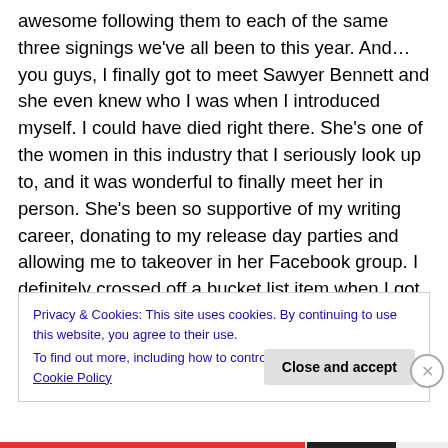awesome following them to each of the same three signings we've all been to this year. And…you guys, I finally got to meet Sawyer Bennett and she even knew who I was when I introduced myself. I could have died right there. She's one of the women in this industry that I seriously look up to, and it was wonderful to finally meet her in person. She's been so supportive of my writing career, donating to my release day parties and allowing me to takeover in her Facebook group. I definitely crossed off a bucket list item when I got to hug her! Fingers crossed I get to attend AITC 2018!
Privacy & Cookies: This site uses cookies. By continuing to use this website, you agree to their use.
To find out more, including how to control cookies, see here: Cookie Policy
Close and accept